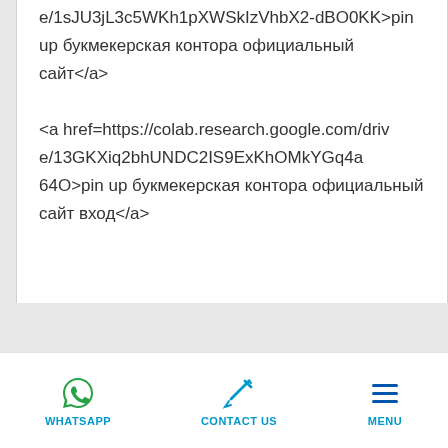e/1sJU3jL3c5WKh1pXWSkIzVhbX2-dBO0KK>pin up букмекерская контора официальный сайт</a>

<a href=https://colab.research.google.com/drive/13GKXiq2bhUNDC2IS9ExKhOMkYGq4a64O>pin up букмекерская контора официальный сайт вход</a>
WHATSAPP   CONTACT US   MENU